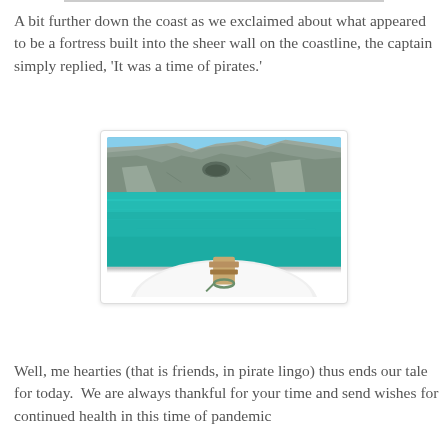A bit further down the coast as we exclaimed about what appeared to be a fortress built into the sheer wall on the coastline, the captain simply replied, 'It was a time of pirates.'
[Figure (photo): View from a boat deck looking out over turquoise-blue coastal water with rocky cliffs in the background under a clear blue sky. A wooden cleat is visible on the white boat deck in the foreground.]
Well, me hearties (that is friends, in pirate lingo) thus ends our tale for today.  We are always thankful for your time and send wishes for continued health in this time of pandemic